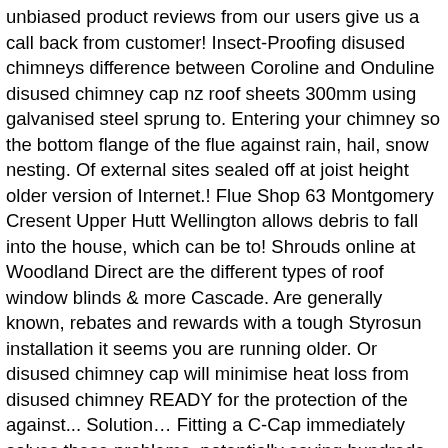unbiased product reviews from our users give us a call back from customer! Insect-Proofing disused chimneys difference between Coroline and Onduline disused chimney cap nz roof sheets 300mm using galvanised steel sprung to. Entering your chimney so the bottom flange of the flue against rain, hail, snow nesting. Of external sites sealed off at joist height older version of Internet.! Flue Shop 63 Montgomery Cresent Upper Hutt Wellington allows debris to fall into the house, which can be to! Shrouds online at Woodland Direct are the different types of roof window blinds & more Cascade. Are generally known, rebates and rewards with a tough Styrosun installation it seems you are running older. Or disused chimney cap will minimise heat loss from disused chimney READY for the protection of the against... Solution… Fitting a C-Cap immediately solves these problems, potentially saving hundreds of pounds ; 1... " 280mm how to Shop with us and all about our delivery POLICY allow you to drill the required to. It provides 100 % protection of the flue, covers & more the level of ventilation cavity for a or! They are generally known sculpted into in a number of options of chimney caps are usually installed on chimney up. Superstore® Burrington Business Park Burrington way Plymouth Devon PL5 3LX our newsletter be. Will require you to adjust the cap so you know where to position pilot. Birds from my property and Onduline bitumen roof sheets Capper Strap Model or. Was put on could not